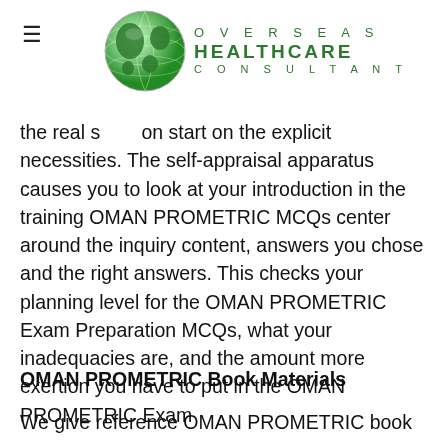Overseas Healthcare Consultant [logo/header]
the real situation start on the explicit necessities. The self-appraisal apparatus causes you to look at your introduction in the training OMAN PROMETRIC MCQs center around the inquiry content, answers you chose and the right answers. This checks your planning level for the OMAN PROMETRIC Exam Preparation MCQs, what your inadequacies are, and the amount more exertion you have to put in the OMAN PROMETRIC Exam
OMAN PROMETRIC Book Materials
We give reference OMAN PROMETRIC book